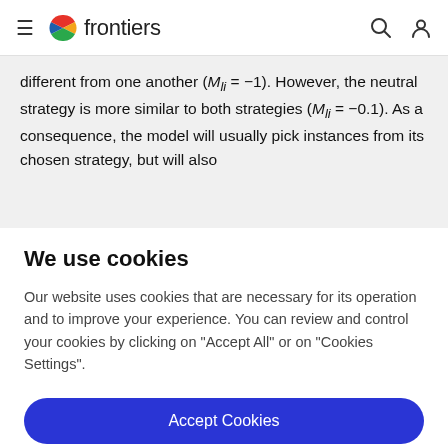frontiers
different from one another (M_{li} = −1). However, the neutral strategy is more similar to both strategies (M_{li} = −0.1). As a consequence, the model will usually pick instances from its chosen strategy, but will also
We use cookies
Our website uses cookies that are necessary for its operation and to improve your experience. You can review and control your cookies by clicking on "Accept All" or on "Cookies Settings".
Accept Cookies
Cookies Settings